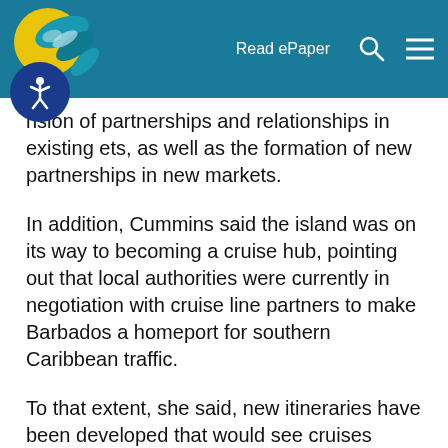Read ePaper
nsion of partnerships and relationships in existing ets, as well as the formation of new partnerships in new markets.
In addition, Cummins said the island was on its way to becoming a cruise hub, pointing out that local authorities were currently in negotiation with cruise line partners to make Barbados a homeport for southern Caribbean traffic.
To that extent, she said, new itineraries have been developed that would see cruises beginning and ending in Barbados when they resume.
“More importantly for the hotel sector, we have integrated a pre- and post-stay into the marketing efforts around that new product that we are negotiating,” she added.